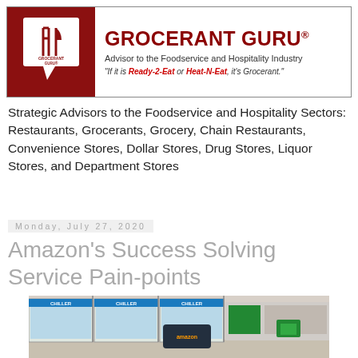[Figure (logo): Grocerant Guru logo banner with dark red speech bubble containing fork icon and white text 'GROCERANT GURU', subtitle 'Advisor to the Foodservice and Hospitality Industry', tagline 'If it is Ready-2-Eat or Heat-N-Eat, it's Grocerant.']
Strategic Advisors to the Foodservice and Hospitality Sectors: Restaurants, Grocerants, Grocery, Chain Restaurants, Convenience Stores, Dollar Stores, Drug Stores, Liquor Stores, and Department Stores
Monday, July 27, 2020
Amazon's Success Solving Service Pain-points
[Figure (photo): Interior of an Amazon grocery or convenience store showing refrigerated chiller units labeled 'CHILLER' in blue, green Amazon branding, shopping baskets, and a customer service counter area.]